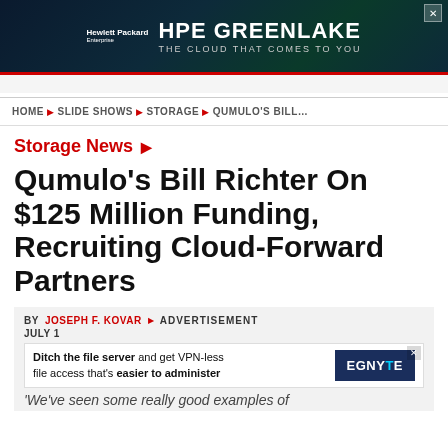[Figure (screenshot): HPE GreenLake advertisement banner with dark teal/green background. Hewlett Packard Enterprise logo on left, 'HPE GREENLAKE' in large white bold text, subtitle 'THE CLOUD THAT COMES TO YOU' below.]
HOME ▶ SLIDE SHOWS ▶ STORAGE ▶ QUMULO'S BILL…
Storage News ▶
Qumulo's Bill Richter On $125 Million Funding, Recruiting Cloud-Forward Partners
BY JOSEPH F. KOVAR ▶  ADVERTISEMENT
JULY 1
[Figure (screenshot): Egnyte inline advertisement: 'Ditch the file server and get VPN-less file access that's easier to administer' with Egnyte logo on dark blue background.]
'We've seen some really good examples of